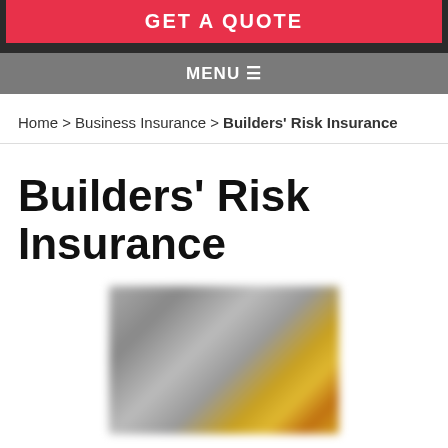GET A QUOTE
MENU ☰
Home > Business Insurance > Builders' Risk Insurance
Builders' Risk Insurance
[Figure (photo): Blurred construction workers photo, workers wearing yellow hard hats]